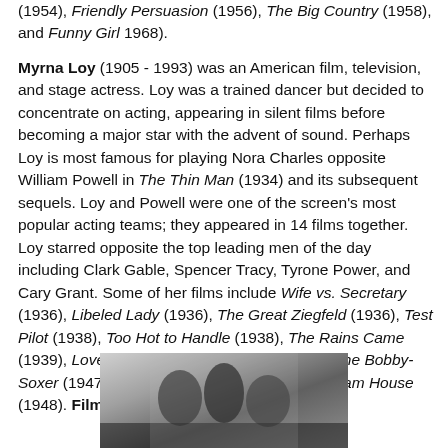(1954), Friendly Persuasion (1956), The Big Country (1958), and Funny Girl 1968).
Myrna Loy (1905 - 1993) was an American film, television, and stage actress. Loy was a trained dancer but decided to concentrate on acting, appearing in silent films before becoming a major star with the advent of sound. Perhaps Loy is most famous for playing Nora Charles opposite William Powell in The Thin Man (1934) and its subsequent sequels. Loy and Powell were one of the screen's most popular acting teams; they appeared in 14 films together. Loy starred opposite the top leading men of the day including Clark Gable, Spencer Tracy, Tyrone Power, and Cary Grant. Some of her films include Wife vs. Secretary (1936), Libeled Lady (1936), The Great Ziegfeld (1936), Test Pilot (1938), Too Hot to Handle (1938), The Rains Came (1939), Love Crazy (1941), The Bachelor and the Bobby-Soxer (1947), and Mr. Blandings Builds His Dream House (1948). Film character: Milly Stephenson.
[Figure (photo): Black and white photograph showing people, partially visible at bottom of page]